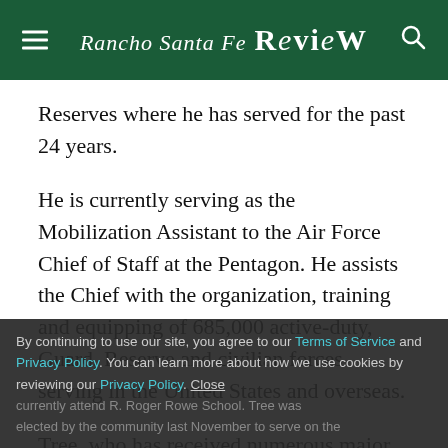Rancho Santa Fe Review
Reserves where he has served for the past 24 years.
He is currently serving as the Mobilization Assistant to the Air Force Chief of Staff at the Pentagon. He assists the Chief with the organization, training and equipping of 685,000 active-duty, Guard, Reserve and civilian forces serving in the United States and overseas.
Tree, who has received numerous major awards and decorations in his military career, lives in Rancho Santa Fe with his wife and their two children, who currently attend R. Roger Rowe School. Tree was elected by the community last November to serve on the
By continuing to use our site, you agree to our Terms of Service and Privacy Policy. You can learn more about how we use cookies by reviewing our Privacy Policy. Close